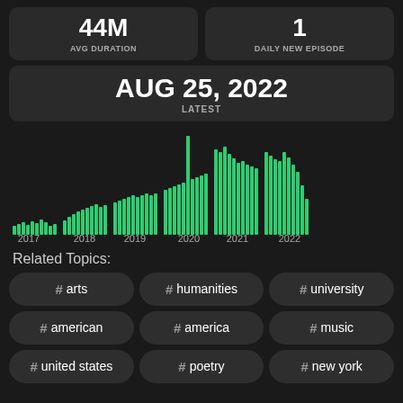44M AVG DURATION
1 DAILY NEW EPISODE
AUG 25, 2022 LATEST
[Figure (bar-chart): Episodes by year 2017-2022]
Related Topics:
# arts
# humanities
# university
# american
# america
# music
# united states
# poetry
# new york